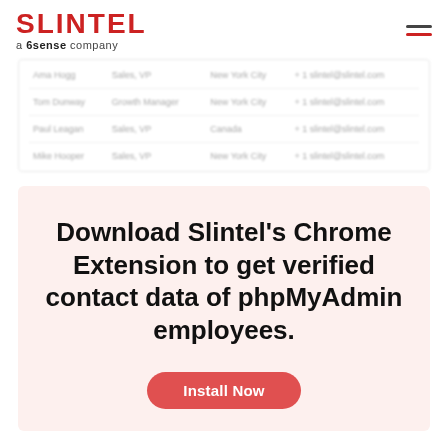SLINTEL a 6sense company
| (blurred name) | (blurred title) | (blurred city) | (blurred contact) |
| (blurred name) | Growth Manager | New York City | (blurred contact) |
| (blurred name) | (blurred title) | Canada | (blurred contact) |
| (blurred name) | (blurred title) | New York City | (blurred contact) |
Download Slintel's Chrome Extension to get verified contact data of phpMyAdmin employees.
Install Now